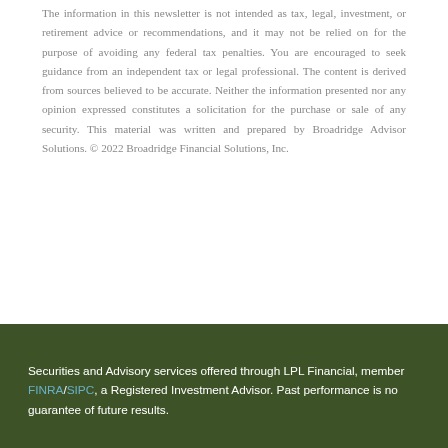The information in this newsletter is not intended as tax, legal, investment, or retirement advice or recommendations, and it may not be relied on for the purpose of avoiding any federal tax penalties. You are encouraged to seek guidance from an independent tax or legal professional. The content is derived from sources believed to be accurate. Neither the information presented nor any opinion expressed constitutes a solicitation for the purchase or sale of any security. This material was written and prepared by Broadridge Advisor Solutions. © 2022 Broadridge Financial Solutions, Inc.
Securities and Advisory services offered through LPL Financial, member FINRA/SIPC, a Registered Investment Advisor. Past performance is no guarantee of future results.